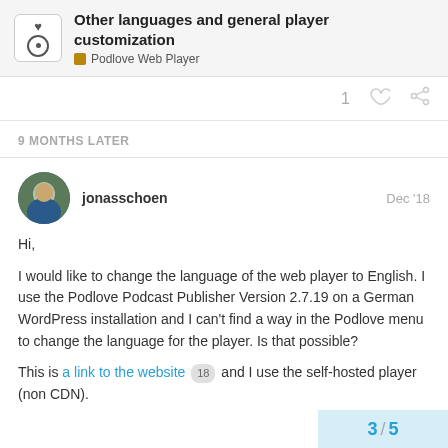Other languages and general player customization — Podlove Web Player
9 MONTHS LATER
jonasschoen  Dec '18
Hi,

I would like to change the language of the web player to English. I use the Podlove Podcast Publisher Version 2.7.19 on a German WordPress installation and I can't find a way in the Podlove menu to change the language for the player. Is that possible?

This is a link to the website 18 and I use the self-hosted player (non CDN).
3 / 5